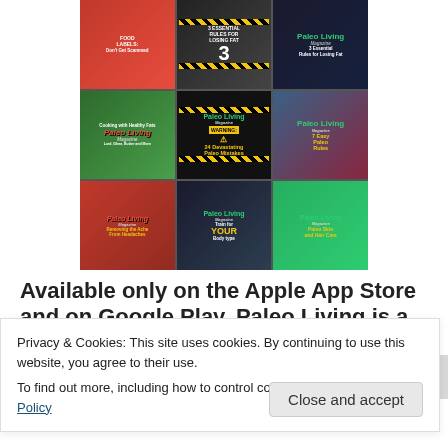[Figure (illustration): Collage of 9 Paleo Living magazine covers arranged in a 3x3 grid. Covers include topics: Food Labels Don't Get Scammed, 3 Essential Rules for Losing Fat, Cooking with Healthy Fats / Paleo Living Magazine, Paleo Living Magazine WARNING 24 Devastating Paleo Mistakes, Paleo Living 7 Easy Paleo Rules, Paleo Living Removing the Ache from Headaches, Paleo Living Train for Your Body Type, Paleo Living Paleo Skin and Hair Care.]
Available only on the Apple App Store and on Google Play. Paleo Living is a
Privacy & Cookies: This site uses cookies. By continuing to use this website, you agree to their use.
To find out more, including how to control cookies, see here: Cookie Policy
Close and accept